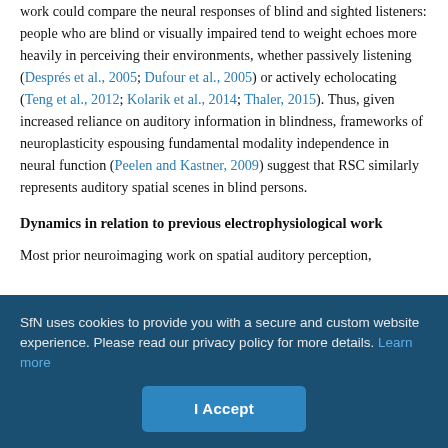work could compare the neural responses of blind and sighted listeners: people who are blind or visually impaired tend to weight echoes more heavily in perceiving their environments, whether passively listening (Després et al., 2005; Dufour et al., 2005) or actively echolocating (Teng et al., 2012; Kolarik et al., 2014; Thaler, 2015). Thus, given increased reliance on auditory information in blindness, frameworks of neuroplasticity espousing fundamental modality independence in neural function (Peelen and Kastner, 2009) suggest that RSC similarly represents auditory spatial scenes in blind persons.
Dynamics in relation to previous electrophysiological work
Most prior neuroimaging work on spatial auditory perception,
SfN uses cookies to provide you with a secure and custom website experience. Please read our privacy policy for more details. Learn more